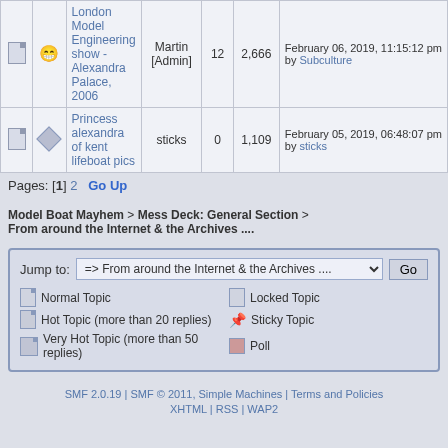|  |  | Topic | Author | Replies | Views | Last post |
| --- | --- | --- | --- | --- | --- | --- |
|  | 😁 | London Model Engineering show - Alexandra Palace, 2006 | Martin [Admin] | 12 | 2,666 | February 06, 2019, 11:15:12 pm by Subculture |
|  |  | Princess alexandra of kent lifeboat pics | sticks | 0 | 1,109 | February 05, 2019, 06:48:07 pm by sticks |
Pages: [1] 2  Go Up
Model Boat Mayhem > Mess Deck: General Section > From around the Internet & the Archives ....
Jump to: => From around the Internet & the Archives ....   Go
Normal Topic | Hot Topic (more than 20 replies) | Very Hot Topic (more than 50 replies) | Locked Topic | Sticky Topic | Poll
SMF 2.0.19 | SMF © 2011, Simple Machines | Terms and Policies XHTML | RSS | WAP2